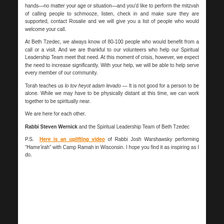hands—no matter your age or situation—and you'd like to perform the mitzvah of calling people to schmooze, listen, check in and make sure they are supported, contact Rosalie and we will give you a list of people who would welcome your call.
At Beth Tzedec, we always know of 80-100 people who would benefit from a call or a visit. And we are thankful to our volunteers who help our Spiritual Leadership Team meet that need. At this moment of crisis, however, we expect the need to increase significantly. With your help, we will be able to help serve every member of our community.
Torah teaches us lo tov heyot adam levado — It is not good for a person to be alone. While we may have to be physically distant at this time, we can work together to be spiritually near.
We are here for each other.
Rabbi Steven Wernick and the Spiritual Leadership Team of Beth Tzedec
P.S. Here is an uplifting video of Rabbi Josh Warshawsky performing “Hame’irah” with Camp Ramah in Wisconsin. I hope you find it as inspiring as I do.